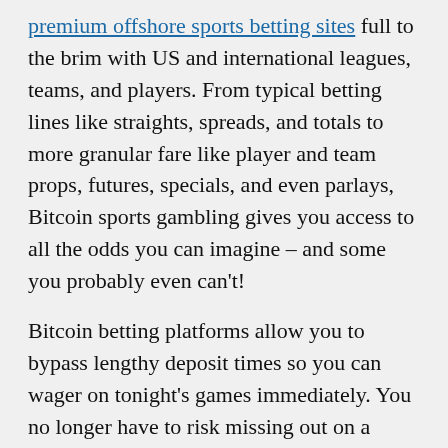premium offshore sports betting sites full to the brim with US and international leagues, teams, and players. From typical betting lines like straights, spreads, and totals to more granular fare like player and team props, futures, specials, and even parlays, Bitcoin sports gambling gives you access to all the odds you can imagine – and some you probably even can't!
Bitcoin betting platforms allow you to bypass lengthy deposit times so you can wager on tonight's games immediately. You no longer have to risk missing out on a valuable line because your traditional deposit took too long to clear. With BTC gambling, USA bettors and international punters can wager on what they want, when they want.
Bitcoin Poker Sites
We cover two of the most trusted and reputable offshore